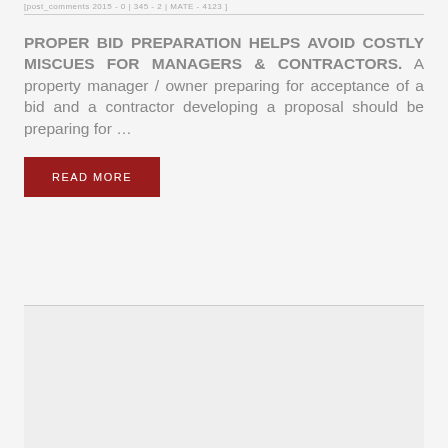[post_comments 2015 - 0 | 345 - 2 | MATE - 4123 ]
PROPER BID PREPARATION HELPS AVOID COSTLY MISCUES FOR MANAGERS & CONTRACTORS. A property manager / owner preparing for acceptance of a bid and a contractor developing a proposal should be preparing for …
READ MORE
[Figure (other): Light gray empty box placeholder region at the bottom of the page]